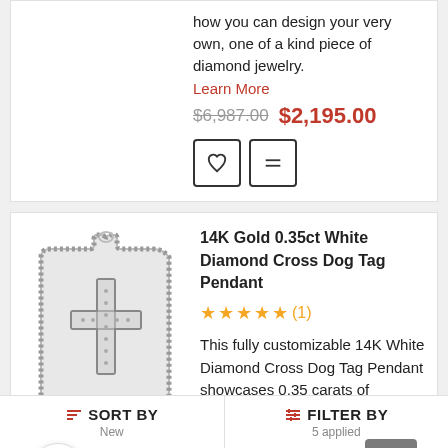how you can design your very own, one of a kind piece of diamond jewelry.
Learn More
$6,987.00  $2,195.00
[Figure (illustration): Heart icon button and compare icon button]
14K Gold 0.35ct White Diamond Cross Dog Tag Pendant
★★★★★(1)
[Figure (photo): 14K Gold White Diamond Cross Dog Tag Pendant product image showing a dog tag shaped pendant with a cross design made of white diamonds in a gold frame]
This fully customizable 14K White Diamond Cross Dog Tag Pendant showcases 0.35 carats of sparkling white diamonds, each masterfully pave set in a lustrous gold frame. Featuring a cross and outline in white diamonds, this fantastic diamond dog tag pendant
SORT BY  New     FILTER BY  5 applied